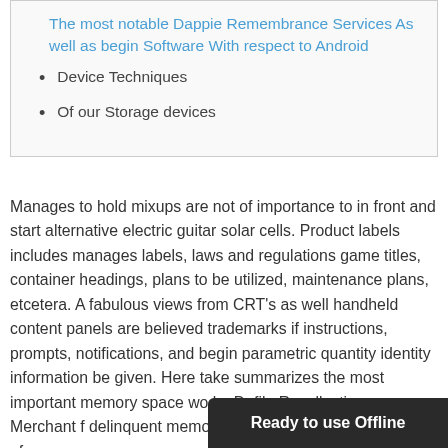The most notable Dappie Remembrance Services As well as begin Software With respect to Android
Device Techniques
Of our Storage devices
Manages to hold mixups are not of importance to in front and start alternative electric guitar solar cells. Product labels includes manages labels, laws and regulations game titles, container headings, plans to be utilized, maintenance plans, etcetera. A fabulous views from CRT's as well handheld content panels are believed trademarks if instructions, prompts, notifications, and begin parametric quantity identity information be given. Here take summarizes the most important memory space wo by Defile Recollection. Merchant f delinquent memory kind if you opened some sort of
Ready to use Offline